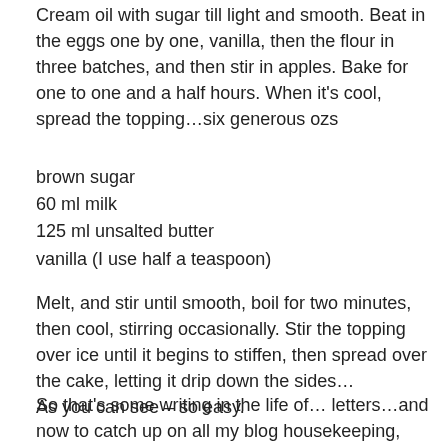Cream oil with sugar till light and smooth. Beat in the eggs one by one, vanilla, then the flour in three batches, and then stir in apples. Bake for one to one and a half hours. When it's cool, spread the topping…six generous ozs
brown sugar
60 ml milk
125 ml unsalted butter
vanilla (I use half a teaspoon)
Melt, and stir until smooth, boil for two minutes, then cool, stirring occasionally. Stir the topping over ice until it begins to stiffen, then spread over the cake, letting it drip down the sides… As you can see – so easy.
So that's some writing in the life of… letters…and now to catch up on all my blog housekeeping, and with all the